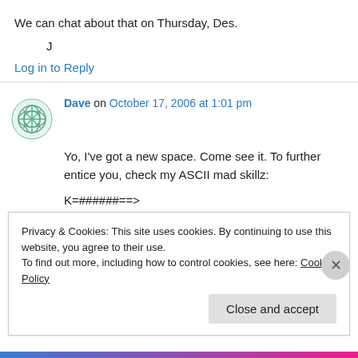We can chat about that on Thursday, Des.
J
Log in to Reply
Dave on October 17, 2006 at 1:01 pm
Yo, I've got a new space. Come see it. To further entice you, check my ASCII mad skillz:
K=######==>
Privacy & Cookies: This site uses cookies. By continuing to use this website, you agree to their use.
To find out more, including how to control cookies, see here: Cookie Policy
Close and accept